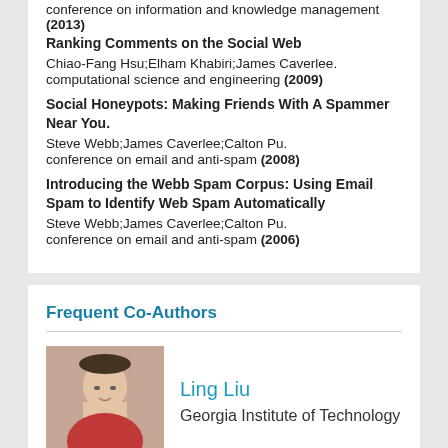conference on information and knowledge management (2013)
Ranking Comments on the Social Web
Chiao-Fang Hsu;Elham Khabiri;James Caverlee.
computational science and engineering (2009)
Social Honeypots: Making Friends With A Spammer Near You.
Steve Webb;James Caverlee;Calton Pu.
conference on email and anti-spam (2008)
Introducing the Webb Spam Corpus: Using Email Spam to Identify Web Spam Automatically
Steve Webb;James Caverlee;Calton Pu.
conference on email and anti-spam (2006)
Frequent Co-Authors
Ling Liu
Georgia Institute of Technology